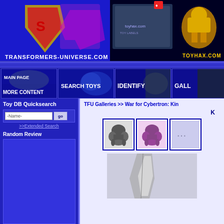[Figure (screenshot): Transformers-Universe.com banner logo with Superman shield and Decepticon symbol]
[Figure (screenshot): ToyHax.com banner advertisement with robot toy and logo]
[Figure (screenshot): Main Page / More Content navigation button with robot imagery]
[Figure (screenshot): Search Toys navigation button with blue robot imagery]
[Figure (screenshot): Identify navigation button with creature imagery]
[Figure (screenshot): Gallery navigation button (partially visible)]
Toy DB Quicksearch
-Name-
go
>>Extended Search
Random Review
TFU Galleries >> War for Cybertron: Kin
[Figure (photo): Thumbnail of gorilla-mode Transformer in gray/black]
[Figure (photo): Thumbnail of gorilla-mode Transformer in purple/pink]
[Figure (photo): Thumbnail partially visible at right edge]
[Figure (photo): Large main image of Transformer toy, partially visible at bottom]